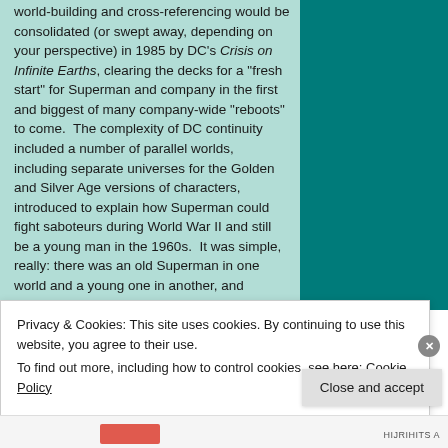world-building and cross-referencing would be consolidated (or swept away, depending on your perspective) in 1985 by DC's Crisis on Infinite Earths, clearing the decks for a "fresh start" for Superman and company in the first and biggest of many company-wide "reboots" to come.  The complexity of DC continuity included a number of parallel worlds, including separate universes for the Golden and Silver Age versions of characters, introduced to explain how Superman could fight saboteurs during World War II and still be a young man in the 1960s.  It was simple, really: there was an old Superman in one world and a young one in another, and sometimes
Privacy & Cookies: This site uses cookies. By continuing to use this website, you agree to their use.
To find out more, including how to control cookies, see here: Cookie Policy